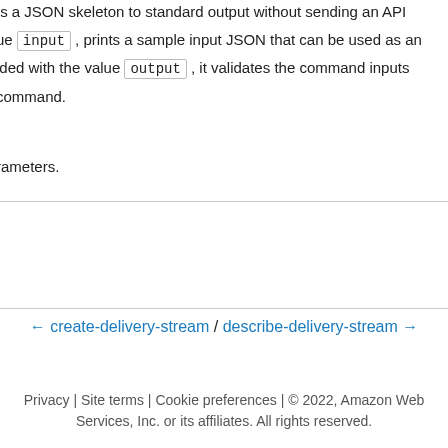ts a JSON skeleton to standard output without sending an API ue input , prints a sample input JSON that can be used as an ided with the value output , it validates the command inputs command.
rameters.
← create-delivery-stream / describe-delivery-stream →
Privacy | Site terms | Cookie preferences | © 2022, Amazon Web Services, Inc. or its affiliates. All rights reserved.